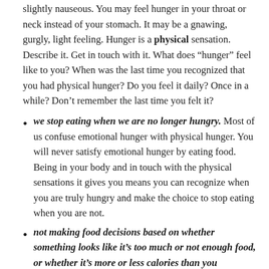slightly nauseous. You may feel hunger in your throat or neck instead of your stomach. It may be a gnawing, gurgly, light feeling. Hunger is a physical sensation. Describe it. Get in touch with it. What does “hunger” feel like to you? When was the last time you recognized that you had physical hunger? Do you feel it daily? Once in a while? Don’t remember the last time you felt it?
we stop eating when we are no longer hungry. Most of us confuse emotional hunger with physical hunger. You will never satisfy emotional hunger by eating food. Being in your body and in touch with the physical sensations it gives you means you can recognize when you are truly hungry and make the choice to stop eating when you are not.
not making food decisions based on whether something looks like it’s too much or not enough food, or whether it’s more or less calories than you “should” have at a certain meal. Instead of using judgements from our head about the quantity of food